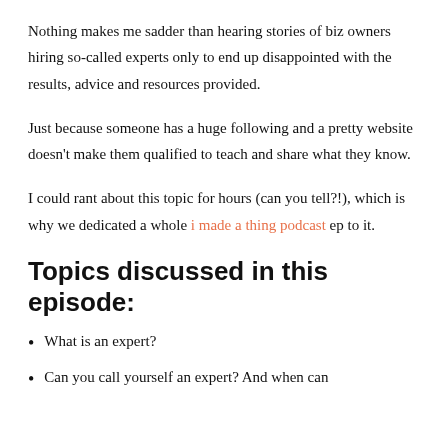Nothing makes me sadder than hearing stories of biz owners hiring so-called experts only to end up disappointed with the results, advice and resources provided.
Just because someone has a huge following and a pretty website doesn’t make them qualified to teach and share what they know.
I could rant about this topic for hours (can you tell?!), which is why we dedicated a whole i made a thing podcast ep to it.
Topics discussed in this episode:
What is an expert?
Can you call yourself an expert? And when can